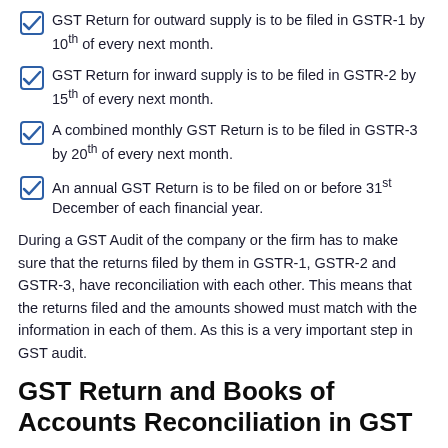GST Return for outward supply is to be filed in GSTR-1 by 10th of every next month.
GST Return for inward supply is to be filed in GSTR-2 by 15th of every next month.
A combined monthly GST Return is to be filed in GSTR-3 by 20th of every next month.
An annual GST Return is to be filed on or before 31st December of each financial year.
During a GST Audit of the company or the firm has to make sure that the returns filed by them in GSTR-1, GSTR-2 and GSTR-3, have reconciliation with each other. This means that the returns filed and the amounts showed must match with the information in each of them. As this is a very important step in GST audit.
GST Return and Books of Accounts Reconciliation in GST